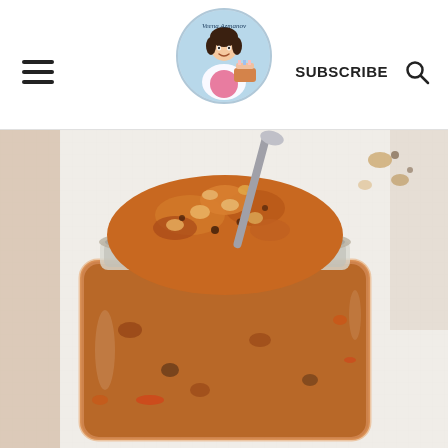Veena Azmanov blog header with hamburger menu, logo, SUBSCRIBE button, and search icon
[Figure (photo): Close-up overhead photo of a square glass jar filled with chunky dark orange-brown chutney or preserve, with a spoon resting in it. The jar is sitting on a white textured surface. Scattered nuts/spices visible in the background.]